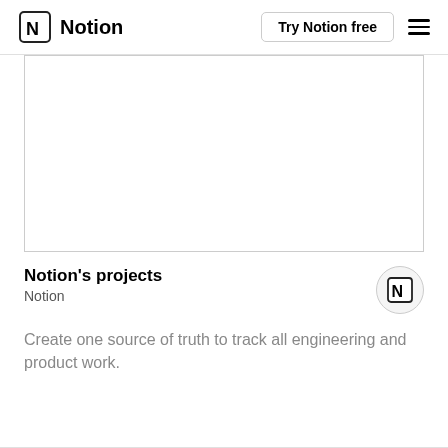Notion | Try Notion free
[Figure (screenshot): Large blank white screenshot/content area with light border]
Notion's projects
Notion
[Figure (logo): Notion logo icon in a light gray circle]
Create one source of truth to track all engineering and product work.